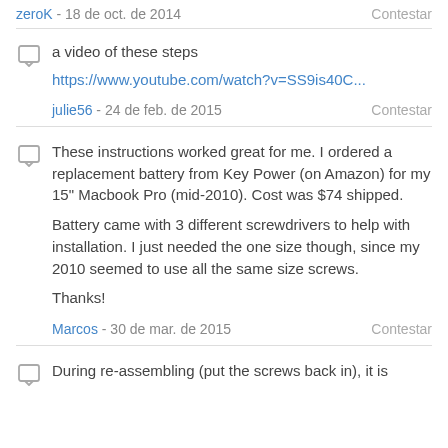zeroK - 18 de oct. de 2014    Contestar
a video of these steps
https://www.youtube.com/watch?v=SS9is40C...
julie56 - 24 de feb. de 2015    Contestar
These instructions worked great for me. I ordered a replacement battery from Key Power (on Amazon) for my 15" Macbook Pro (mid-2010). Cost was $74 shipped.

Battery came with 3 different screwdrivers to help with installation. I just needed the one size though, since my 2010 seemed to use all the same size screws.

Thanks!
Marcos - 30 de mar. de 2015    Contestar
During re-assembling (put the screws back in), it is